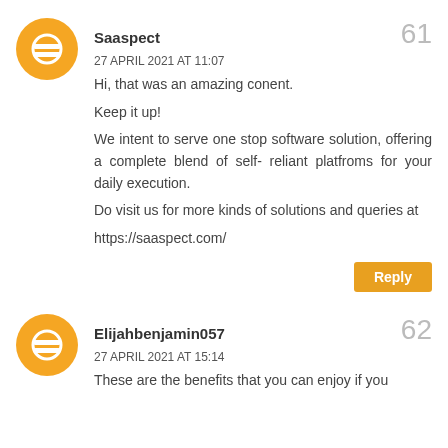[Figure (logo): Orange circular Blogger avatar icon with white equals-like symbol, for user Saaspect]
Saaspect
61
27 APRIL 2021 AT 11:07
Hi, that was an amazing conent.
Keep it up!

We intent to serve one stop software solution, offering a complete blend of self- reliant platfroms for your daily execution.

Do visit us for more kinds of solutions and queries at
https://saaspect.com/
Reply
[Figure (logo): Orange circular Blogger avatar icon with white equals-like symbol, for user Elijahbenjamin057]
Elijahbenjamin057
62
27 APRIL 2021 AT 15:14
These are the benefits that you can enjoy if you